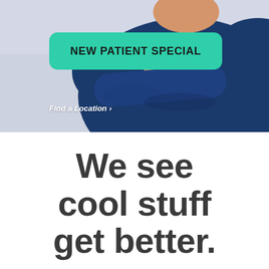[Figure (photo): Photo of a person wearing a navy blue long-sleeve shirt with arms crossed, against a light gray-blue background. Overlaid with a teal/green rounded rectangle button reading 'NEW PATIENT SPECIAL' and a white italic link 'Find a Location ›'.]
We see cool stuff get better.